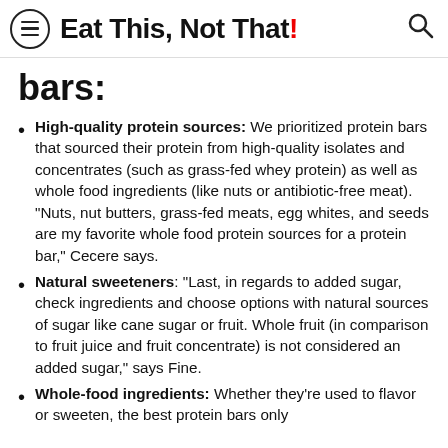Eat This, Not That!
bars:
High-quality protein sources: We prioritized protein bars that sourced their protein from high-quality isolates and concentrates (such as grass-fed whey protein) as well as whole food ingredients (like nuts or antibiotic-free meat). "Nuts, nut butters, grass-fed meats, egg whites, and seeds are my favorite whole food protein sources for a protein bar," Cecere says.
Natural sweeteners: "Last, in regards to added sugar, check ingredients and choose options with natural sources of sugar like cane sugar or fruit. Whole fruit (in comparison to fruit juice and fruit concentrate) is not considered an added sugar," says Fine.
Whole-food ingredients: Whether they're used to flavor or sweeten, the best protein bars only